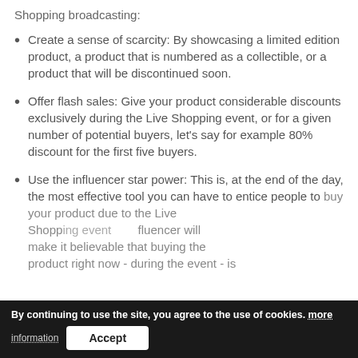Shopping broadcasting:
Create a sense of scarcity: By showcasing a limited edition product, a product that is numbered as a collectible, or a product that will be discontinued soon.
Offer flash sales: Give your product considerable discounts exclusively during the Live Shopping event, or for a given number of potential buyers, let's say for example 80% discount for the first five buyers.
Use the influencer star power: This is, at the end of the day, the most effective tool you can have to entice people to buy your product due to the Live Shopping event. An influencer will make it believable that buying the product right now - during the event - is
By continuing to use the site, you agree to the use of cookies. more information Accept